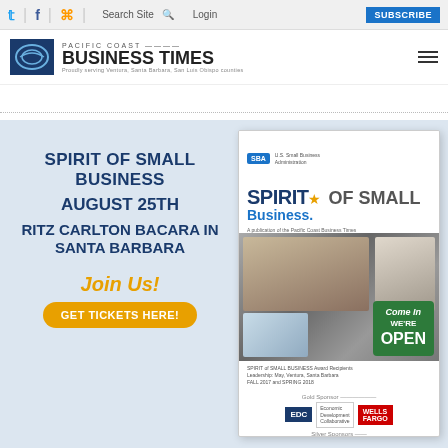Pacific Coast Business Times — Navigation bar with social icons, Search Site, Login, Subscribe
[Figure (logo): Pacific Coast Business Times logo with emblem]
[Figure (infographic): Spirit of Small Business event advertisement banner with magazine cover. Text: SPIRIT OF SMALL BUSINESS / AUGUST 25TH / RITZ CARLTON BACARA IN SANTA BARBARA / Join Us! / GET TICKETS HERE!]